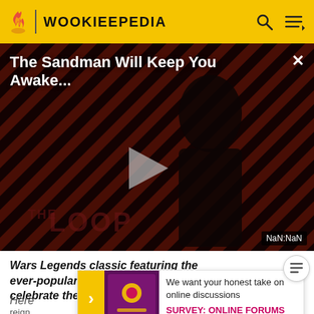WOOKIEEPEDIA
[Figure (screenshot): Video thumbnail for 'The Sandman Will Keep You Awake...' on Wookieepedia's The Loop video player. Shows a dark figure against a striped red/dark background with a play button in the center. Timer shows NaN:NaN.]
Wars Legends classic featuring the ever-popular Thrawn, repackaged to celebrate the 50th anni
Here
reign
We want your honest take on online discussions
SURVEY: ONLINE FORUMS